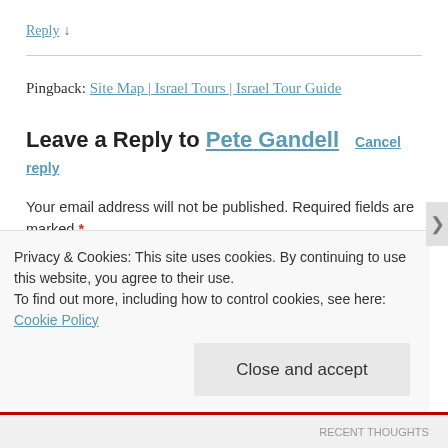Reply ↓
Pingback: Site Map | Israel Tours | Israel Tour Guide
Leave a Reply to Pete Gandell  Cancel reply
Your email address will not be published. Required fields are marked *
Comment *
Privacy & Cookies: This site uses cookies. By continuing to use this website, you agree to their use.
To find out more, including how to control cookies, see here: Cookie Policy
Close and accept